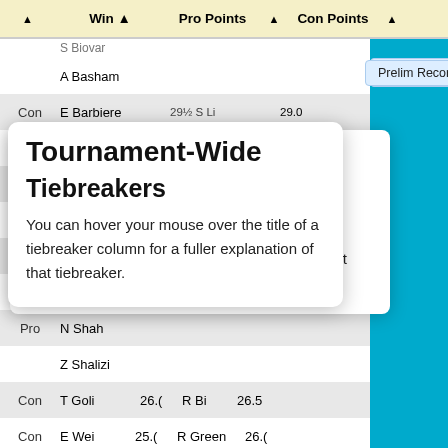|  | Win | Pro Points |  | Con Points |  |
| --- | --- | --- | --- | --- | --- |
|  | S Biovar |  |  |  |
|  | A Basham |  |  |  |
| Con | E Barbiere | 29½ | S Li | 29.0 |
|  | J Zirin-Hyman |  |  |  |
| Pro | S Lim | 27.( | K Goenka | 28.( |
|  | A Deng |  |  |  |
| Con | L Wang |  |  |  |
|  | J Zhang |  |  |  |
| Pro | N Shah |  |  |  |
|  | Z Shalizi |  |  |  |
| Con | T Goli | 26.( | R Bi | 26.5 |
| Con | E Wei | 25.( | R Green | 26.( |
Prelim Records
Tournament-Wide Tiebreakers

You can hover your mouse over the title of a tiebreaker column for a fuller explanation of that tiebreaker.